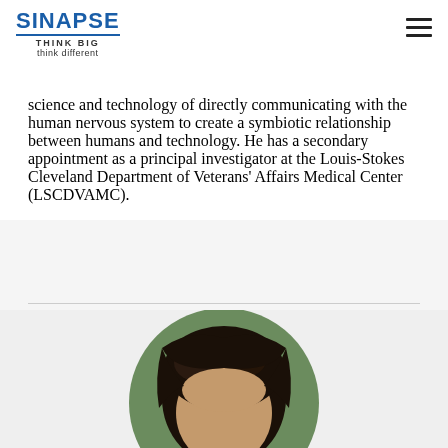SINAPSE THINK BIG think different
science and technology of directly communicating with the human nervous system to create a symbiotic relationship between humans and technology. He has a secondary appointment as a principal investigator at the Louis-Stokes Cleveland Department of Veterans' Affairs Medical Center (LSCDVAMC).
[Figure (photo): Circular cropped headshot of a person with dark hair, partially visible at the bottom of the page, green background circle]